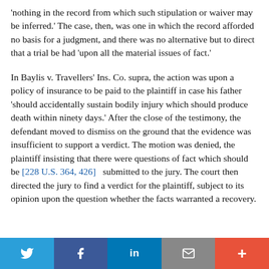'nothing in the record from which such stipulation or waiver may be inferred.' The case, then, was one in which the record afforded no basis for a judgment, and there was no alternative but to direct that a trial be had 'upon all the material issues of fact.'
In Baylis v. Travellers' Ins. Co. supra, the action was upon a policy of insurance to be paid to the plaintiff in case his father 'should accidentally sustain bodily injury which should produce death within ninety days.' After the close of the testimony, the defendant moved to dismiss on the ground that the evidence was insufficient to support a verdict. The motion was denied, the plaintiff insisting that there were questions of fact which should be [228 U.S. 364, 426]  submitted to the jury. The court then directed the jury to find a verdict for the plaintiff, subject to its opinion upon the question whether the facts warranted a recovery.
Twitter | Facebook | LinkedIn | Email | +